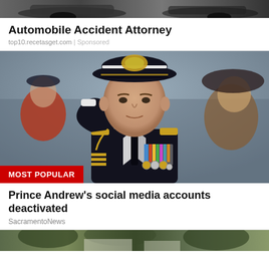[Figure (photo): Top portion of a car/vehicle photo (advertisement image, partially visible)]
Automobile Accident Attorney
top10.recetasget.com | Sponsored
[Figure (photo): Prince Andrew in naval uniform saluting, with 'MOST POPULAR' red badge overlay in bottom left]
Prince Andrew's social media accounts deactivated
SacramentoNews
[Figure (photo): Bottom portion of another news image, partially visible]